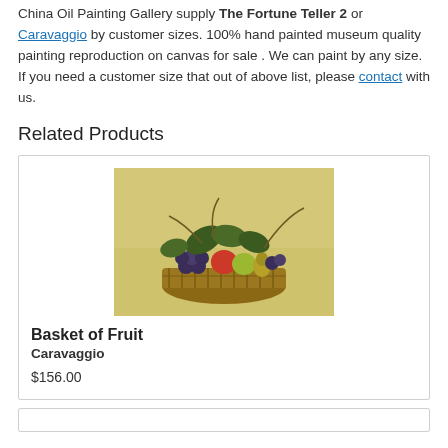China Oil Painting Gallery supply The Fortune Teller 2 or Caravaggio by customer sizes. 100% hand painted museum quality painting reproduction on canvas for sale . We can paint by any size. If you need a customer size that out of above list, please contact with us.
Related Products
[Figure (photo): Caravaggio's Basket of Fruit painting showing a wicker basket filled with various fruits including apples, grapes, and pears with leaves and vines, on a pale yellow background]
Basket of Fruit
Caravaggio
$156.00